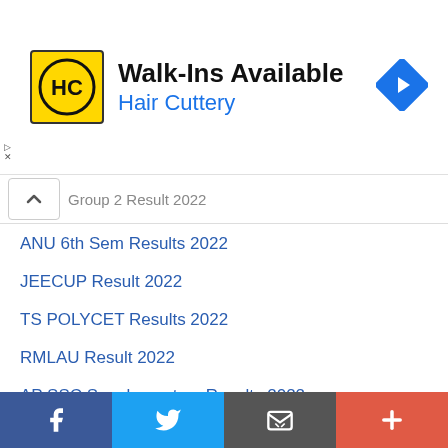[Figure (screenshot): Advertisement banner for Hair Cuttery: logo with HC initials on yellow background, text 'Walk-Ins Available' and 'Hair Cuttery' in blue, blue diamond navigation icon on right]
Group 2 Result 2022
ANU 6th Sem Results 2022
JEECUP Result 2022
TS POLYCET Results 2022
RMLAU Result 2022
AP SSC Supplementary Results 2022
Uniraj Result 2022 Name Wise
ANU Degree Results 2022 Date